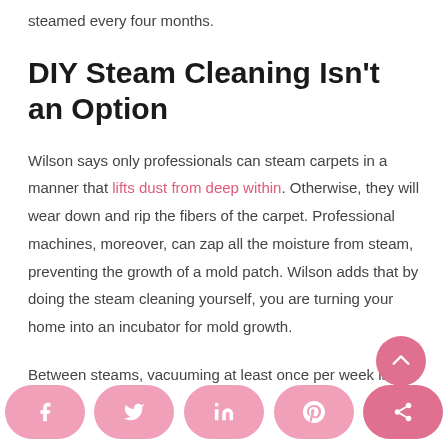steamed every four months.
DIY Steam Cleaning Isn't an Option
Wilson says only professionals can steam carpets in a manner that lifts dust from deep within. Otherwise, they will wear down and rip the fibers of the carpet. Professional machines, moreover, can zap all the moisture from steam, preventing the growth of a mold patch. Wilson adds that by doing the steam cleaning yourself, you are turning your home into an incubator for mold growth.
Between steams, vacuuming at least once per week is